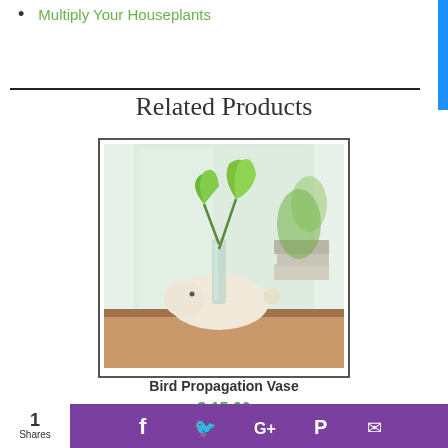Multiply Your Houseplants
Related Products
[Figure (photo): Bird-shaped wooden propagation vase with green heart-leaf plant cuttings growing from glass tube, set on a wooden surface near a window with books in background]
Bird Propagation Vase
$ 15.00
Buy Now
1 Shares — social share bar with Facebook, Twitter, Google+, Pinterest, Email icons